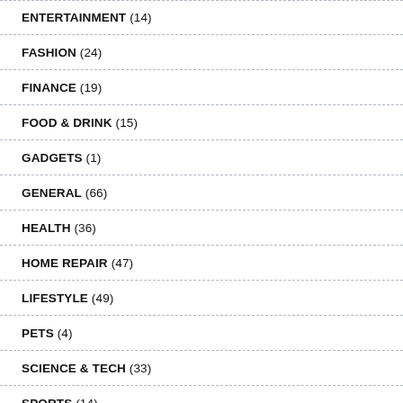ENTERTAINMENT (14)
FASHION (24)
FINANCE (19)
FOOD & DRINK (15)
GADGETS (1)
GENERAL (66)
HEALTH (36)
HOME REPAIR (47)
LIFESTYLE (49)
PETS (4)
SCIENCE & TECH (33)
SPORTS (14)